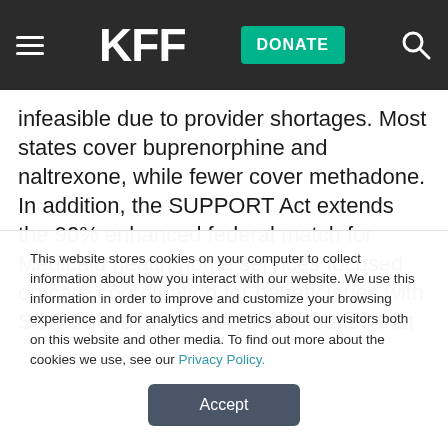KFF | DONATE
infeasible due to provider shortages. Most states cover buprenorphine and naltrexone, while fewer cover methadone. In addition, the SUPPORT Act extends the 90% enhanced federal match for Medicaid health home services focused on care coordination for beneficiaries with SUD from 8 to 10 quarters for states that elect that option
This website stores cookies on your computer to collect information about how you interact with our website. We use this information in order to improve and customize your browsing experience and for analytics and metrics about our visitors both on this website and other media. To find out more about the cookies we use, see our Privacy Policy.
Accept